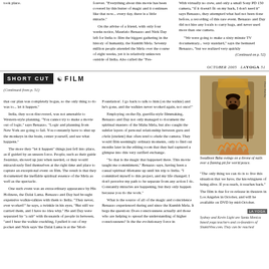took place.
forever. "Everything about this movie has been covered by this butter of magic and it continues like that now... every day, there is a little miracle."

On the advise of a friend, with only four weeks notice, Maurizio Benazzo and Nick Day left for India to film the biggest gathering in the history of humanity, the Kumbh Mela. Seventy million people attended the Mela over the course of eight weeks, yet it is relatively unknown outside of India. Also called the "Fes-
With virtually no crew, and only a small Sony PD 150 camera, "if it doesn't fit on my back, I don't need it" says Benazzo, they attempted what had not been done before, a recording of this rare event. Benazzo and Day did not hire any locals to carry bags, and never used more than one camera.

"We were going to make a sixty minute TV documentary... very standard," says the bemused Benazzo, "but we realized very quickly
(Continued on p. 52)
OCTOBER 2005   LAYOGA 51
SHORT CUT  ☯  FILM
(Continued from p. 51)
that our plan was completely bogus, so the only thing to do was to... let it happen."

India, they soon discovered, was not amenable to Western-style planning. "You cannot try to make a movie out of logic," says Benazzo. "Logic and planning from New York are going to fail. You constantly have to shut up the monkeys in the brain, center yourself, and see what happens."

The more they "let it happen" things just fell into place, as if guided by an unseen force. People, such as their guide Swamias, showed up just when needed, or they would miraculously find themselves at the right time and place to capture an exceptional event on film. The result is that they documented the ineffable spiritual essence of the Mela as well as the spectacle.

One such event was an extraordinary appearance by His Holiness, the Dalai Lama. Benazzo and Day had brought expensive walkie-talkies with them to India. "They never, ever worked!" he says, a twinkle in his eyes, "But still we carried them, and I have no idea why." He and Day were separated by "a rab" with thousands of people in between, "and I hear the walkie crackling, I pulled it out of my pocket and Nick says 'the Dalai Lama is at the 'Mod-
Foundation'. I go back to talk to him (on the walkie) and he's gone, and the walkies never worked again, not once!"

Employing on-the-fly, guerilla-style filmmaking, Benazzo and Day not only managed to document the spiritual masters of the Maha Mela, but also caught the subtler layers of personal relationship between guru and chela (student) that often tend to elude the camera. They would film seemingly ordinary moments, only to find out months later in the editing room that they had captured a glimpse into this very rarified exchange.

"So that is the magic that happened there. This movie taught me commitment," Benazzo says, having been a casual spiritual dilettante up until his trip to India. "I committed myself to this project, and my life changed. I don't perceive my path to be separate from any action I do. Constantly miracles are happening, but they only happen because you do the work."

What is the source of all of the magic and coincidence Benazzo experienced during and since the Kumbh Mela. It begs the question: Does consciousness actually aid those who are helping to spread the understanding of higher consciousness? Is the the evolutionary force in
[Figure (photo): Swadboot Baba sitting on a throne of nails over a flaming pit for world peace. Man with long dark hair seated on ornate throne surrounded by decorative elements.]
Swadboot Baba swings on a throne of nails over a flaming pit for world peace.
"The only thing we can do is to live this situation that we have, the knowingness of being alive. If you reach, it reaches back."

The film is due for re-release in theaters in Los Angeles in October, and will be available on DVD by mid-October.
Sydney and Kevin Light are Santa Monica based yoga teachers and co-founders of ShaktiVine.com. They can be reached